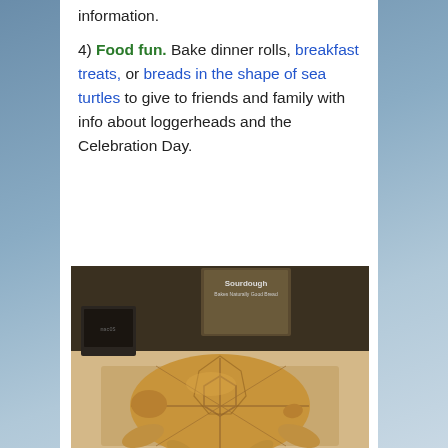information.
4) Food fun. Bake dinner rolls, breakfast treats, or breads in the shape of sea turtles to give to friends and family with info about loggerheads and the Celebration Day.
[Figure (photo): A bread loaf baked in the shape of a sea turtle, golden brown, sitting on a surface with a Sourdough book and other items visible in the background.]